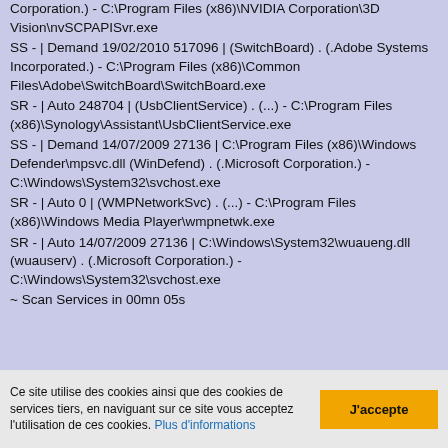Corporation.) - C:\Program Files (x86)\NVIDIA Corporation\3D Vision\nvSCPAPISvr.exe
SS - | Demand 19/02/2010 517096 | (SwitchBoard) . (.Adobe Systems Incorporated.) - C:\Program Files (x86)\Common Files\Adobe\SwitchBoard\SwitchBoard.exe
SR - | Auto 248704 | (UsbClientService) . (...) - C:\Program Files (x86)\Synology\Assistant\UsbClientService.exe
SS - | Demand 14/07/2009 27136 | C:\Program Files (x86)\Windows Defender\mpsvc.dll (WinDefend) . (.Microsoft Corporation.) - C:\Windows\System32\svchost.exe
SR - | Auto 0 | (WMPNetworkSvc) . (...) - C:\Program Files (x86)\Windows Media Player\wmpnetwk.exe
SR - | Auto 14/07/2009 27136 | C:\Windows\System32\wuaueng.dll (wuauserv) . (.Microsoft Corporation.) - C:\Windows\System32\svchost.exe
~ Scan Services in 00mn 05s
---\ Recherche Master Boot Record Infection (MBR)(O80)
Ce site utilise des cookies ainsi que des cookies de services tiers, en naviguant sur ce site vous acceptez l'utilisation de ces cookies. Plus d'informations
J'accepte